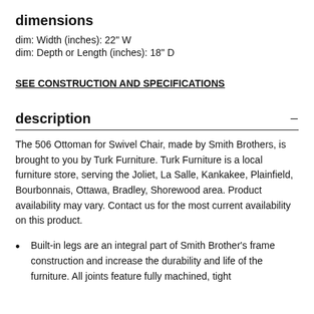dimensions
dim: Width (inches): 22" W
dim: Depth or Length (inches): 18" D
SEE CONSTRUCTION AND SPECIFICATIONS
description
The 506 Ottoman for Swivel Chair, made by Smith Brothers, is brought to you by Turk Furniture. Turk Furniture is a local furniture store, serving the Joliet, La Salle, Kankakee, Plainfield, Bourbonnais, Ottawa, Bradley, Shorewood area. Product availability may vary. Contact us for the most current availability on this product.
Built-in legs are an integral part of Smith Brother's frame construction and increase the durability and life of the furniture. All joints feature fully machined, tight